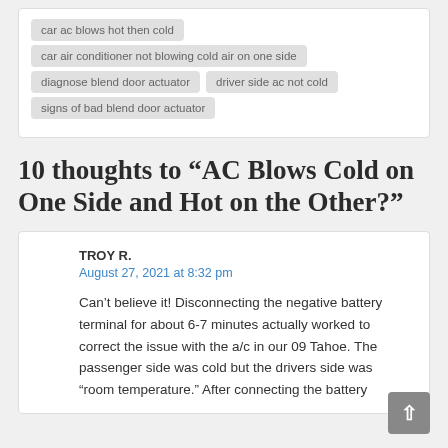car ac blows hot then cold
car air conditioner not blowing cold air on one side
diagnose blend door actuator
driver side ac not cold
signs of bad blend door actuator
10 thoughts to “AC Blows Cold on One Side and Hot on the Other?”
TROY R.
August 27, 2021 at 8:32 pm
Can’t believe it! Disconnecting the negative battery terminal for about 6-7 minutes actually worked to correct the issue with the a/c in our 09 Tahoe. The passenger side was cold but the drivers side was “room temperature.” After connecting the battery